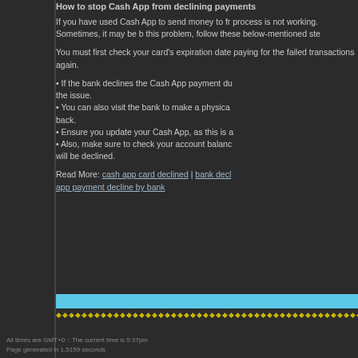How to stop Cash App from declining payments
If you have used Cash App to send money to fr... process is not working. Sometimes, it may be b... this problem, follow these below-mentioned ste...
You must first check your card's expiration date... paying for the failed transactions again.
• If the bank declines the Cash App payment du... the issue.
• You can also visit the bank to make a physica... back.
• Ensure you update your Cash App, as this is a...
• Also, make sure to check your account balanc... will be declined.
Read More: cash app card declined | bank decl... app payment decline by bank
All times are GMT+0 :: The current time is 5:37pm
Page generated in 1.5159 seconds